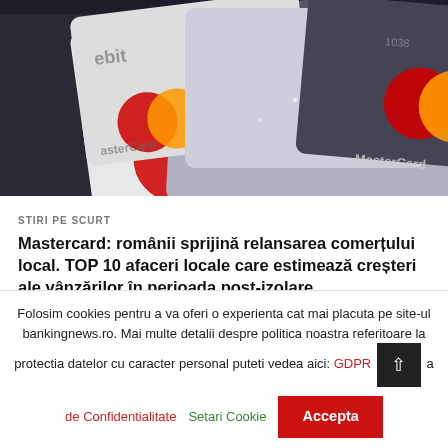[Figure (photo): Close-up photo of two MasterCard credit/debit cards overlapping, showing the MasterCard logo with red and yellow circles. Cards have a glittery/metallic texture.]
STIRI PE SCURT
Mastercard: românii sprijină relansarea comerțului local. TOP 10 afaceri locale care estimează creșteri ale vânzărilor în perioada post-izolare
Măcelarii, comercianții de fructe, legume și brânzeturi sunt printre
Folosim cookies pentru a va oferi o experienta cat mai placuta pe site-ul bankingnews.ro. Mai multe detalii despre politica noastra referitoare la protectia datelor cu caracter personal puteti vedea aici: GDPR a de Confidentialitate
Setari Cookie
Accepta